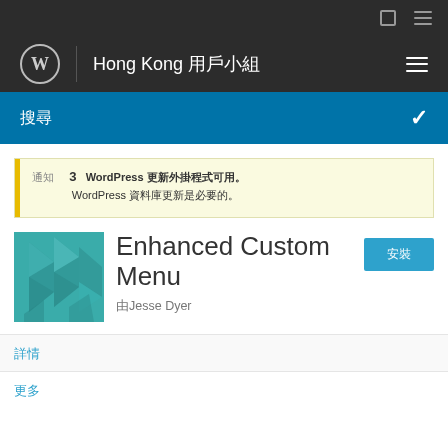WordPress Hong Kong 用戶小組
搜尋
通知 3 WordPress 更新外掛程式可用。WordPress 資料庫更新是必要的。
Enhanced Custom Menu
由Jesse Dyer
安裝
詳情
更多